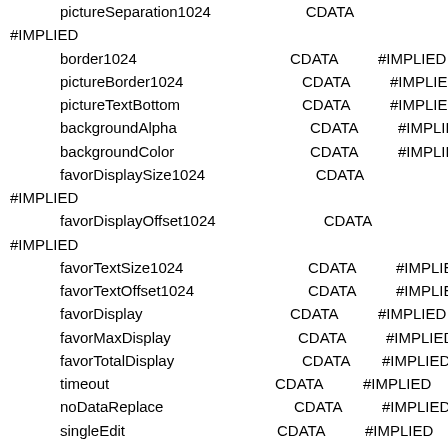pictureSeparation1024    CDATA    #IMPLIED
border1024    CDATA    #IMPLIED
pictureBorder1024    CDATA    #IMPLIED
pictureTextBottom    CDATA    #IMPLIED
backgroundAlpha    CDATA    #IMPLIED
backgroundColor    CDATA    #IMPLIED
favorDisplaySize1024    CDATA    #IMPLIED
favorDisplayOffset1024    CDATA    #IMPLIED
favorTextSize1024    CDATA    #IMPLIED
favorTextOffset1024    CDATA    #IMPLIED
favorDisplay    CDATA    #IMPLIED
favorMaxDisplay    CDATA    #IMPLIED
favorTotalDisplay    CDATA    #IMPLIED
timeout    CDATA    #IMPLIED
noDataReplace    CDATA    #IMPLIED
singleEdit    CDATA    #IMPLIED
commandHistory    CDATA    #IMPLIED
grabInput    CDATA    #IMPLIED
enterKey    CDATA    #IMPLIED
contextExclusive    CDATA    #IMPLIED
verticalButtons    CDATA    #IMPLIED
useMask    CDATA    #IMPLIED
[Figure (screenshot): Small icon showing a document/image thumbnail]
[Figure (screenshot): Small icon showing an up-arrow button]